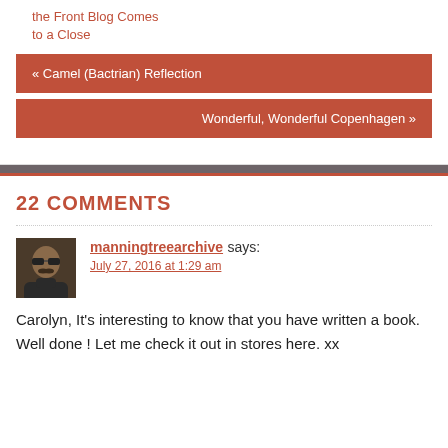the Front Blog Comes to a Close
« Camel (Bactrian) Reflection
Wonderful, Wonderful Copenhagen »
22 COMMENTS
manningtreearchive says:
July 27, 2016 at 1:29 am
Carolyn, It's interesting to know that you have written a book. Well done ! Let me check it out in stores here. xx